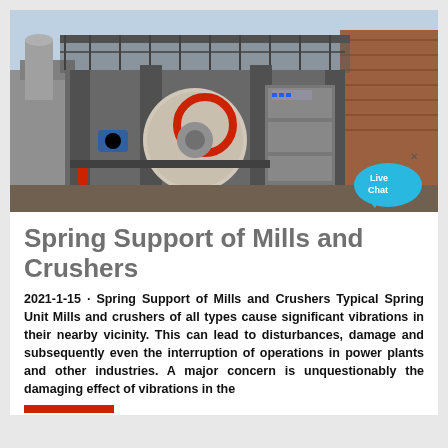[Figure (photo): Industrial crusher and mill equipment in an outdoor facility with metal framework, walkways, and heavy machinery including a large circular crusher wheel visible.]
Spring Support of Mills and Crushers
2021-1-15 · Spring Support of Mills and Crushers Typical Spring Unit Mills and crushers of all types cause significant vibrations in their nearby vicinity. This can lead to disturbances, damage and subsequently even the interruption of operations in power plants and other industries. A major concern is unquestionably the damaging effect of vibrations in the